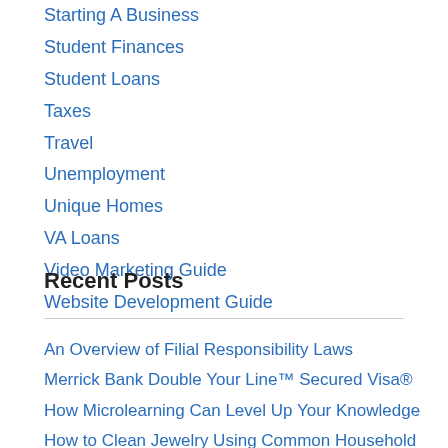Starting A Business
Student Finances
Student Loans
Taxes
Travel
Unemployment
Unique Homes
VA Loans
Video Marketing Guide
Website Development Guide
Recent Posts
An Overview of Filial Responsibility Laws
Merrick Bank Double Your Line™ Secured Visa®
How Microlearning Can Level Up Your Knowledge
How to Clean Jewelry Using Common Household Items